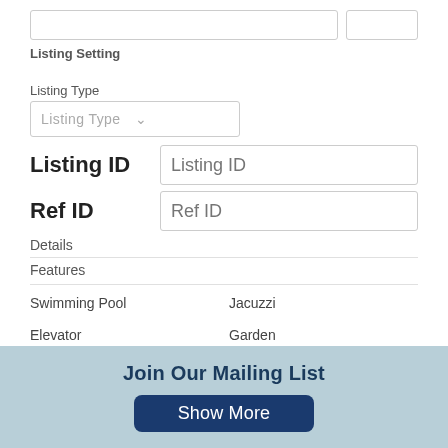Listing Setting
Listing Type
Listing ID
Ref ID
Details
Features
Swimming Pool
Jacuzzi
Elevator
Garden
Gymnasium
Fireplace
Storage
Parking
Join Our Mailing List
Show More